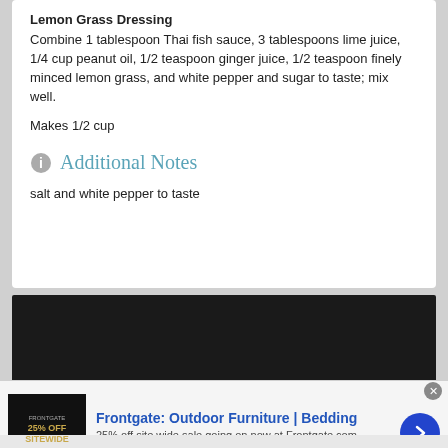Lemon Grass Dressing
Combine 1 tablespoon Thai fish sauce, 3 tablespoons lime juice, 1/4 cup peanut oil, 1/2 teaspoon ginger juice, 1/2 teaspoon finely minced lemon grass, and white pepper and sugar to taste; mix well.
Makes 1/2 cup
Additional Notes
salt and white pepper to taste
[Figure (other): Dark advertisement banner area]
[Figure (other): Advertisement for Frontgate: Outdoor Furniture | Bedding. 25% off site wide sale going on now at Frontgate.com. Shows product image with '25% OFF SITEWIDE' text and a blue arrow button.]